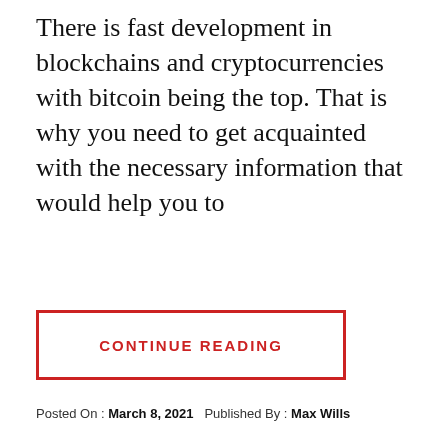There is fast development in blockchains and cryptocurrencies with bitcoin being the top. That is why you need to get acquainted with the necessary information that would help you to
CONTINUE READING
Posted On : March 8, 2021   Published By : Max Wills
[Figure (photo): Photo of a laptop keyboard with red dice and playing cards (ace of hearts visible), suggesting online casino or gambling theme. A yellow back-to-top arrow button is overlaid in the bottom right corner.]